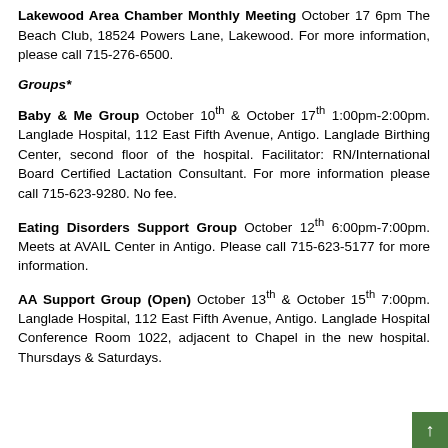Lakewood Area Chamber Monthly Meeting October 17 6pm The Beach Club, 18524 Powers Lane, Lakewood. For more information, please call 715-276-6500.
Groups*
Baby & Me Group October 10th & October 17th 1:00pm-2:00pm. Langlade Hospital, 112 East Fifth Avenue, Antigo. Langlade Birthing Center, second floor of the hospital. Facilitator: RN/International Board Certified Lactation Consultant. For more information please call 715-623-9280. No fee.
Eating Disorders Support Group October 12th 6:00pm-7:00pm. Meets at AVAIL Center in Antigo. Please call 715-623-5177 for more information.
AA Support Group (Open) October 13th & October 15th 7:00pm. Langlade Hospital, 112 East Fifth Avenue, Antigo. Langlade Hospital Conference Room 1022, adjacent to Chapel in the new hospital. Thursdays & Saturdays.